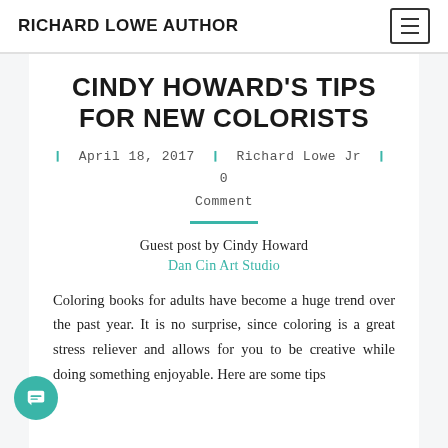RICHARD LOWE AUTHOR
CINDY HOWARD'S TIPS FOR NEW COLORISTS
April 18, 2017 ❙ Richard Lowe Jr ❙ 0 Comment
Guest post by Cindy Howard
Dan Cin Art Studio
Coloring books for adults have become a huge trend over the past year. It is no surprise, since coloring is a great stress reliever and allows for you to be creative while doing something enjoyable. Here are some tips